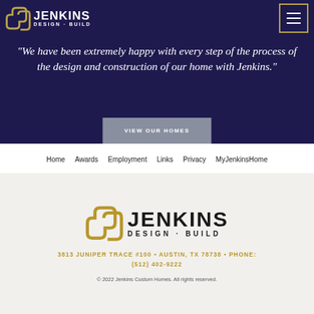[Figure (logo): Jenkins Design-Build logo in white on dark navy header background]
"We have been extremely happy with every step of the process of the design and construction of our home with Jenkins."
VIEW OUR HOMES
Home
Awards
Employment
Links
Privacy
MyJenkinsHome
[Figure (logo): Jenkins Design-Build logo large black and gold version]
3813 JUNIPER TRACE #100 ▪ AUSTIN, TX 78738 ▪ PHONE: (512) 402-9222
© 2022 Jenkins Custom Homes. All rights reserved.